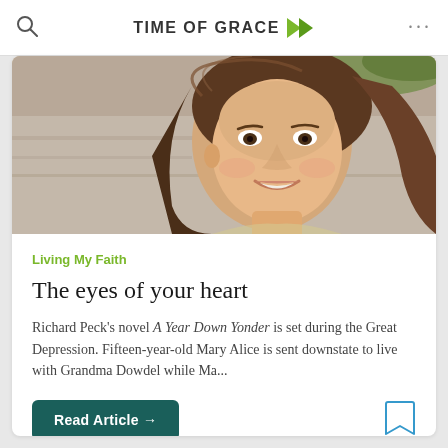TIME OF GRACE
[Figure (photo): Close-up photo of a smiling young woman with long brown hair, outdoors with a blurred background]
Living My Faith
The eyes of your heart
Richard Peck's novel A Year Down Yonder is set during the Great Depression. Fifteen-year-old Mary Alice is sent downstate to live with Grandma Dowdel while Ma...
Read Article →